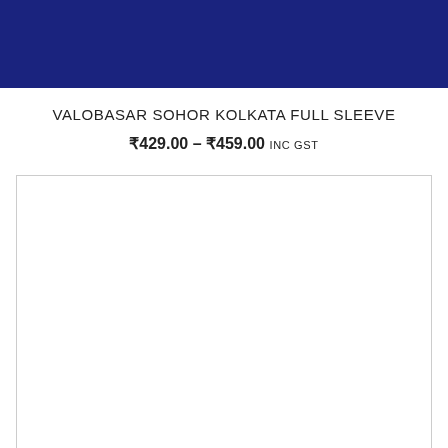[Figure (other): Dark navy blue header banner]
VALOBASAR SOHOR KOLKATA FULL SLEEVE
₹429.00 – ₹459.00 INC GST
[Figure (photo): Empty white product image placeholder with light gray border]